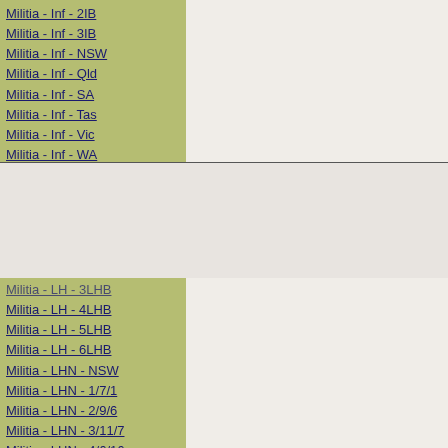Militia - Inf - 2IB
Militia - Inf - 3IB
Militia - Inf - NSW
Militia - Inf - Qld
Militia - Inf - SA
Militia - Inf - Tas
Militia - Inf - Vic
Militia - Inf - WA
Militia - LH - 3LHB
Militia - LH - 4LHB
Militia - LH - 5LHB
Militia - LH - 6LHB
Militia - LHN - NSW
Militia - LHN - 1/7/1
Militia - LHN - 2/9/6
Militia - LHN - 3/11/7
Militia - LHN - 4/6/16
Militia - LHN - 5/4/15
Militia - LHN - 6/5/12
Militia - LHN - 28
Militia - LHQ - Qld
Militia - LHQ - 13/2
Militia - LHQ - 14/3/11